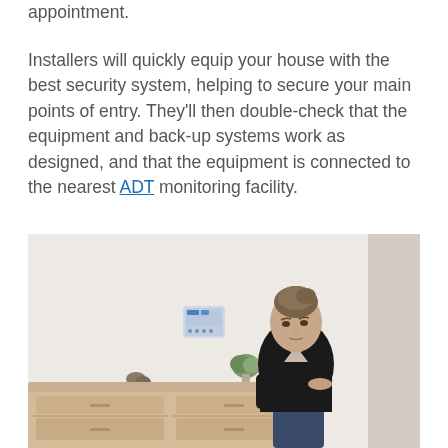appointment.
Installers will quickly equip your house with the best security system, helping to secure your main points of entry. They'll then double-check that the equipment and back-up systems work as designed, and that the equipment is connected to the nearest ADT monitoring facility.
[Figure (photo): A woman in a black top leaning on a light wood dresser/cabinet in a home interior. A security panel is mounted on the white wall behind her. Small plants and decorative items are on the dresser.]